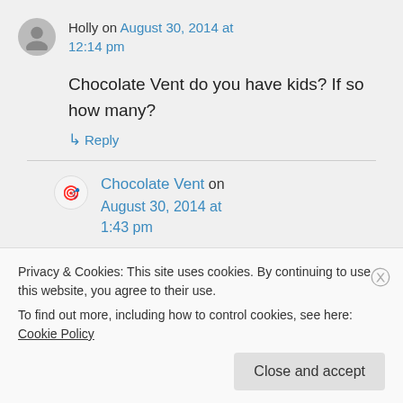Holly on August 30, 2014 at 12:14 pm
Chocolate Vent do you have kids? If so how many?
↳ Reply
Chocolate Vent on August 30, 2014 at 1:43 pm
Privacy & Cookies: This site uses cookies. By continuing to use this website, you agree to their use. To find out more, including how to control cookies, see here: Cookie Policy
Close and accept